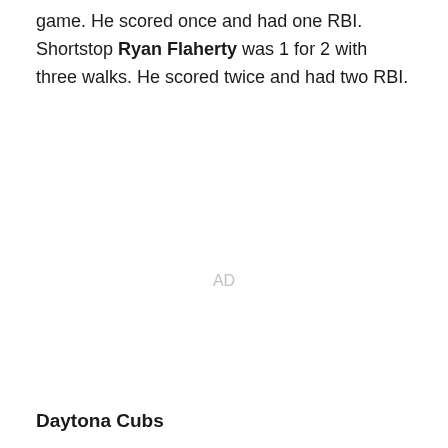game. He scored once and had one RBI. Shortstop Ryan Flaherty was 1 for 2 with three walks. He scored twice and had two RBI.
AD
Daytona Cubs